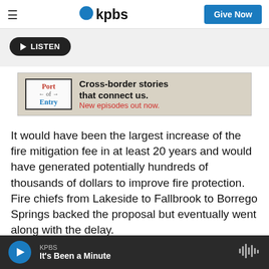kpbs | Give Now
[Figure (screenshot): KPBS logo with blue circle icon and hamburger menu, plus Give Now button]
[Figure (other): Listen button (play icon + LISTEN text) on grey background]
[Figure (other): Port of Entry podcast ad banner: Cross-border stories that connect us. New episodes out now.]
It would have been the largest increase of the fire mitigation fee in at least 20 years and would have generated potentially hundreds of thousands of dollars to improve fire protection. Fire chiefs from Lakeside to Fallbrook to Borrego Springs backed the proposal but eventually went along with the delay.
KPBS | It's Been a Minute